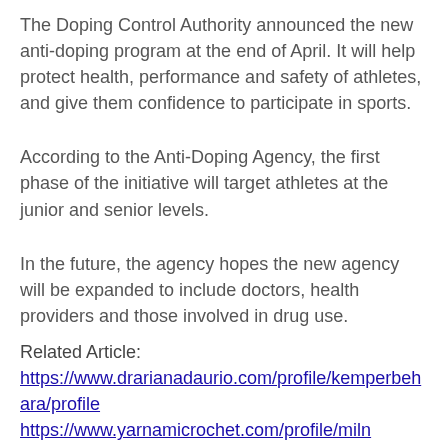The Doping Control Authority announced the new anti-doping program at the end of April. It will help protect health, performance and safety of athletes, and give them confidence to participate in sports.
According to the Anti-Doping Agency, the first phase of the initiative will target athletes at the junior and senior levels.
In the future, the agency hopes the new agency will be expanded to include doctors, health providers and those involved in drug use.
Related Article:
https://www.drarianadaurio.com/profile/kemperbehara/profile
https://www.yarnamicrochet.com/profile/milnebhroomprofile